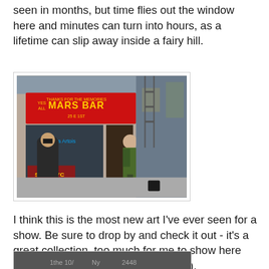seen in months, but time flies out the window here and minutes can turn into hours, as a lifetime can slip away inside a fairy hill.
[Figure (photo): Street-level photograph of the Mars Bar, a bar in New York City. A red awning reads 'THANKS FOR THE MEMORIES MARS BAR 25 E 1ST'. Several people are visible on the sidewalk in front of the bar including a man in a green jacket walking away from the camera and people seated at an outdoor table.]
I think this is the most new art I've ever seen for a show.  Be sure to drop by and check it out - it's a great collection, too much for me to show here (and better to see in person anyway).
[Figure (photo): Partial photo visible at bottom of page, appears to be a black and white image with graffiti or text.]